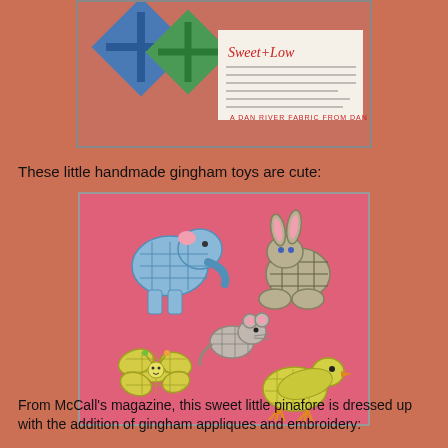[Figure (photo): Vintage advertisement or photo showing gingham fabric/clothing with 'Sweet + Low' text visible, featuring blue and green gingham pattern items]
These little handmade gingham toys are cute:
[Figure (photo): Photo of handmade gingham fabric toys on pink background: a blue gingham elephant, a dark gingham rabbit, a grey gingham mouse, a yellow gingham butterfly/bee, and a yellow gingham duck]
From McCall's magazine, this sweet little pinafore is dressed up with the addition of gingham appliques and embroidery: